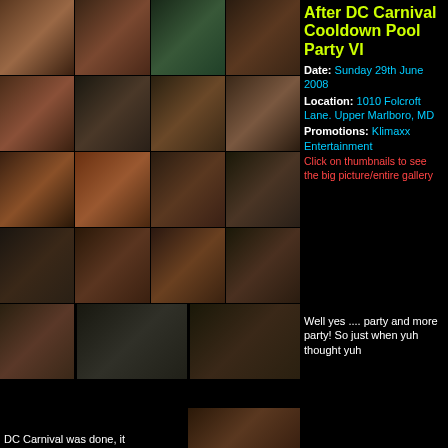[Figure (photo): Photo collage grid of party attendees at After DC Carnival Cooldown Pool Party VI, multiple rows of portrait photos against black background]
After DC Carnival Cooldown Pool Party VI
Date: Sunday 29th June 2008
Location: 1010 Folcroft Lane. Upper Marlboro, MD
Promotions: Klimaxx Entertainment
Click on thumbnails to see the big picture/entire gallery
Well yes .... party and more party! So just when yuh thought yuh
DC Carnival was done, it